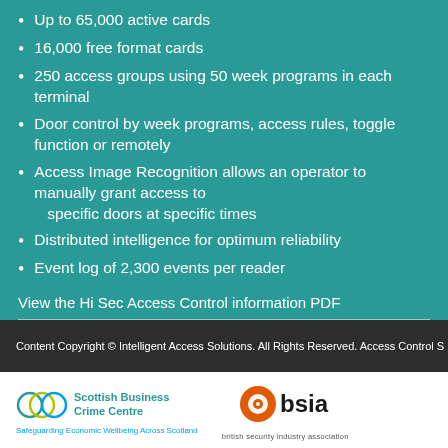Up to 65,000 active cards
16,000 free format cards
250 access groups using 50 week programs in each terminal
Door control by week programs, access rules, toggle function or remotely
Access Image Recognition allows an operator to manually grant access to specific doors at specific times
Distributed intelligence for optimum reliability
Event log of 2,300 events per reader
View the Hi Sec Access Control information PDF
Content Copyright © Intelligent Access Solutions. All Rights Reserved. Access Control S
[Figure (logo): Scottish Business Crime Centre logo with rings icon and tagline: Safeguarding Economic Wellbeing Across Scotland]
[Figure (logo): BSIA (British Security Industry Association) logo with orange circular icon]